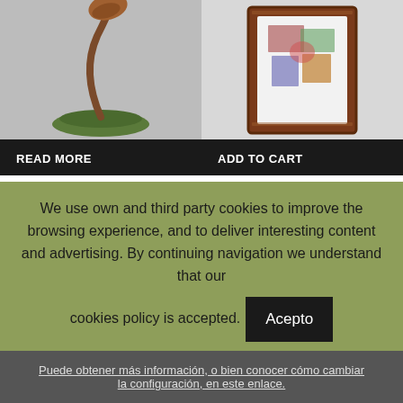[Figure (photo): Bronze mushroom sculpture on green base, left product]
READ MORE
[Figure (photo): Framed bronze figure picture nr. 13, right product]
ADD TO CART
Autumn-2 (Ref.: FV-005)
0-Todas las categorías, Flowers and plants, Mushrooms
Picture nr. 13 (Ref.: C-015)
0-Todas las categorías, Framed bronze figures
We use own and third party cookies to improve the browsing experience, and to deliver interesting content and advertising. By continuing navigation we understand that our cookies policy is accepted. Acepto
Puede obtener más información, o bien conocer cómo cambiar la configuración, en este enlace.